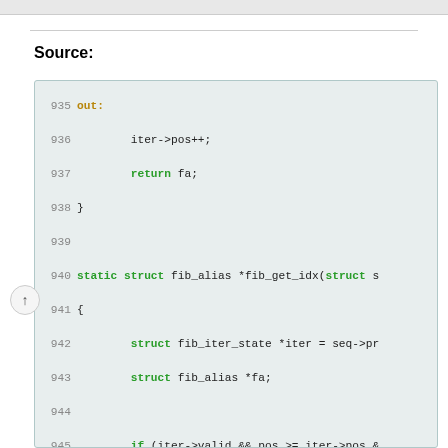Source:
Source code listing showing C function fib_get_idx and related code, lines 935-959. The code uses green bold keywords (out, return, static, struct, if, else, while, void) and shows iterator and fiber alias operations.